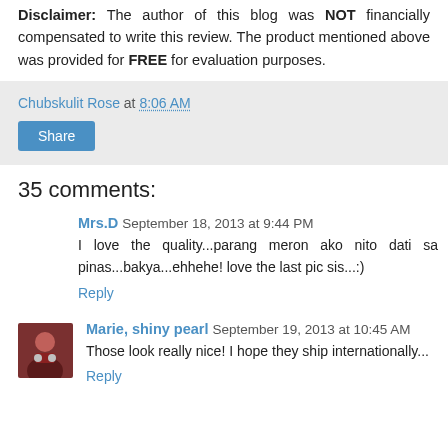Disclaimer: The author of this blog was NOT financially compensated to write this review. The product mentioned above was provided for FREE for evaluation purposes.
Chubskulit Rose at 8:06 AM
Share
35 comments:
Mrs.D September 18, 2013 at 9:44 PM
I love the quality...parang meron ako nito dati sa pinas...bakya...ehhehe! love the last pic sis...:)
Reply
Marie, shiny pearl September 19, 2013 at 10:45 AM
Those look really nice! I hope they ship internationally...
Reply